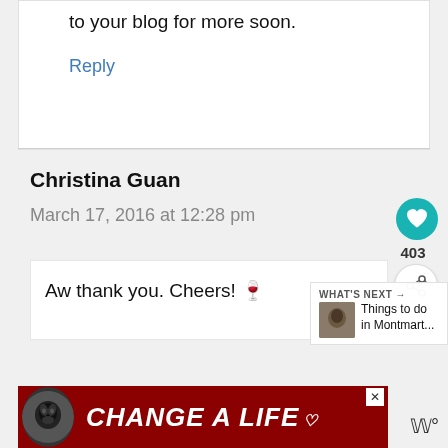to your blog for more soon.
Reply
Christina Guan
March 17, 2016 at 12:28 pm
Aw thank you. Cheers! 🍷
WHAT'S NEXT → Things to do in Montmart...
[Figure (screenshot): CHANGE A LIFE advertisement banner with dog image on dark red background]